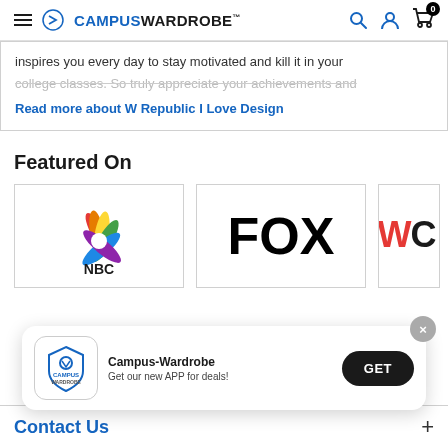Campus Wardrobe - navigation bar with logo, search, account, and cart icons
inspires you every day to stay motivated and kill it in your college classes. So truly appreciate your achievements and
Read more about W Republic I Love Design
Featured On
[Figure (logo): NBC logo - colorful peacock feathers with NBC text below]
[Figure (logo): FOX logo - bold black FOX text]
[Figure (logo): Partially visible logo starting with WC]
[Figure (screenshot): App download banner: Campus-Wardrobe app icon, text 'Campus-Wardrobe Get our new APP for deals!' and black GET button]
Contact Us +